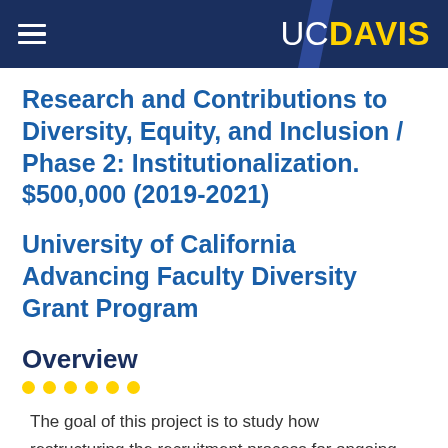UC DAVIS
Research and Contributions to Diversity, Equity, and Inclusion / Phase 2: Institutionalization. $500,000 (2019-2021)
University of California Advancing Faculty Diversity Grant Program
Overview
The goal of this project is to study how restructuring the recruitment process for ongoing faculty searches can